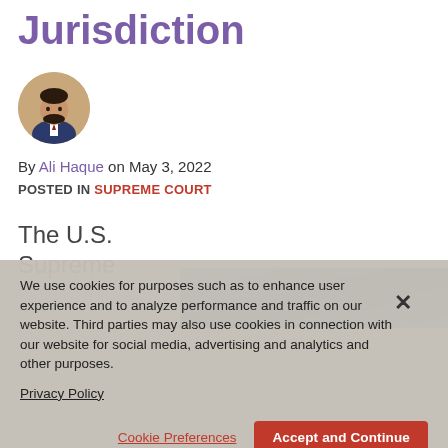Jurisdiction
[Figure (photo): Circular headshot of Ali Haque, a man in a dark suit with a beard, smiling]
By Ali Haque on May 3, 2022
POSTED IN SUPREME COURT
The U.S. Supreme
[Figure (photo): Partial photo visible behind cookie overlay, appears to show people in blue tones]
We use cookies for purposes such as to enhance user experience and to analyze performance and traffic on our website. Third parties may also use cookies in connection with our website for social media, advertising and analytics and other purposes.

Privacy Policy
Cookie Preferences   Accept and Continue